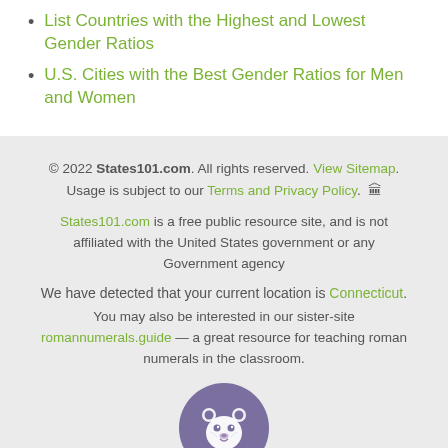List Countries with the Highest and Lowest Gender Ratios
U.S. Cities with the Best Gender Ratios for Men and Women
© 2022 States101.com. All rights reserved. View Sitemap. Usage is subject to our Terms and Privacy Policy. States101.com is a free public resource site, and is not affiliated with the United States government or any Government agency. We have detected that your current location is Connecticut. You may also be interested in our sister-site romannumerals.guide — a great resource for teaching roman numerals in the classroom.
[Figure (logo): Circular purple logo with a white bear/cheetah face icon]